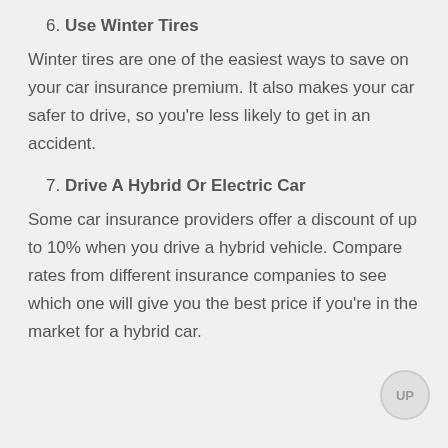6. Use Winter Tires
Winter tires are one of the easiest ways to save on your car insurance premium. It also makes your car safer to drive, so you're less likely to get in an accident.
7. Drive A Hybrid Or Electric Car
Some car insurance providers offer a discount of up to 10% when you drive a hybrid vehicle. Compare rates from different insurance companies to see which one will give you the best price if you're in the market for a hybrid car.